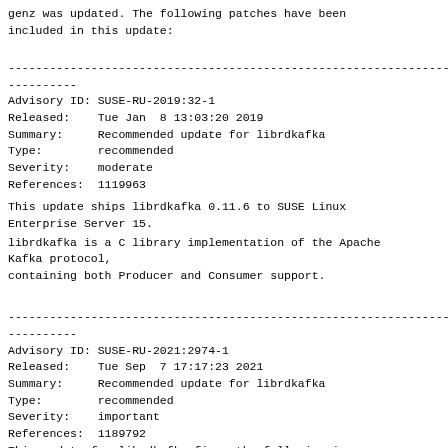genz was updated. The following patches have been included in this update:
---------------------------------------------------------------------------- ----------
Advisory ID: SUSE-RU-2019:32-1
Released:    Tue Jan  8 13:03:20 2019
Summary:     Recommended update for librdkafka
Type:        recommended
Severity:    moderate
References:  1119963
This update ships librdkafka 0.11.6 to SUSE Linux Enterprise Server 15.
librdkafka is a C library implementation of the Apache Kafka protocol,
containing both Producer and Consumer support.
---------------------------------------------------------------------------- ----------
Advisory ID: SUSE-RU-2021:2974-1
Released:    Tue Sep  7 17:17:23 2021
Summary:     Recommended update for librdkafka
Type:        recommended
Severity:    important
References:  1189792
This update for librdkafka fixes the following issue:
- Fixed thread creation on SUSE Linux Enterprise Server